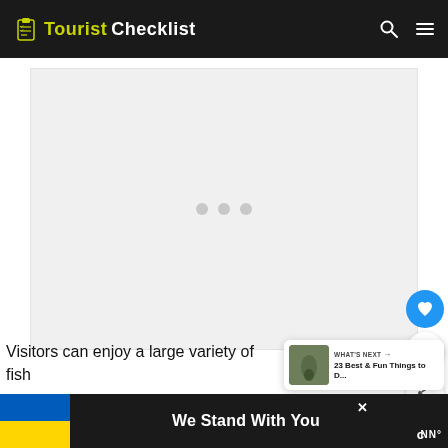Tourist Checklist
[Figure (other): Loading placeholder with three grey dots on light grey background]
[Figure (other): Floating UI: heart/like button (blue circle), count '1', share button]
[Figure (other): What's Next panel with thumbnail and text '23 Best & Fun Things to D...']
Visitors can enjoy a large variety of fish
[Figure (other): Banner ad: Ukrainian flag, 'We Stand With You', close button, CNN logo]